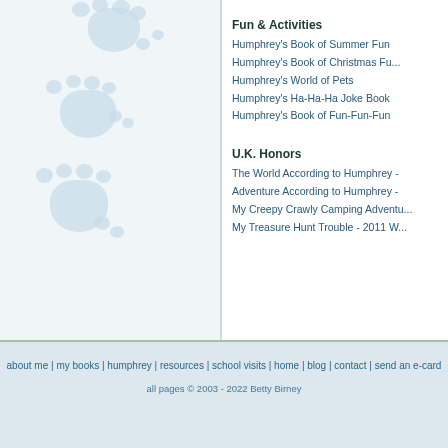[Figure (illustration): Light blue paw prints decorative illustration on left panel background]
Fun & Activities
Humphrey's Book of Summer Fun
Humphrey's Book of Christmas Fu...
Humphrey's World of Pets
Humphrey's Ha-Ha-Ha Joke Book
Humphrey's Book of Fun-Fun-Fun
U.K. Honors
The World According to Humphrey -
Adventure According to Humphrey -
My Creepy Crawly Camping Adventu...
My Treasure Hunt Trouble - 2011 W...
about me | my books | humphrey | resources | school visits | home | blog | contact | send an e-card
all pages © 2003 - 2022 Betty Birney